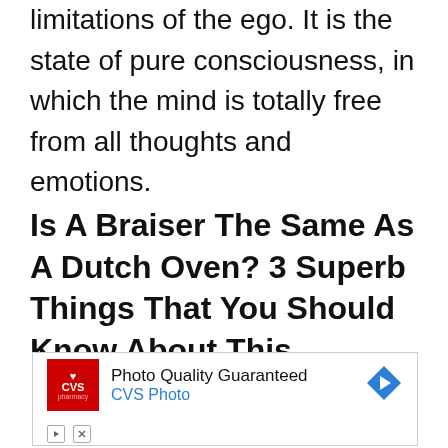limitations of the ego. It is the state of pure consciousness, in which the mind is totally free from all thoughts and emotions.
Is A Braiser The Same As A Dutch Oven? 3 Superb Things That You Should Know About This
[Figure (other): CVS Pharmacy advertisement banner with logo, text 'Photo Quality Guaranteed CVS Photo', a blue diamond arrow icon, and playback/close controls.]